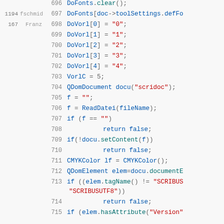[Figure (screenshot): Source code viewer showing lines 696-715 of a C++ file with revision annotations (revision numbers and author names in left margin). Code includes DoFonts, DoVorl array assignments, VorlC, QDomDocument, ReadDatei, setContent, CMYKColor, QDomElement, and tagName/hasAttribute checks.]